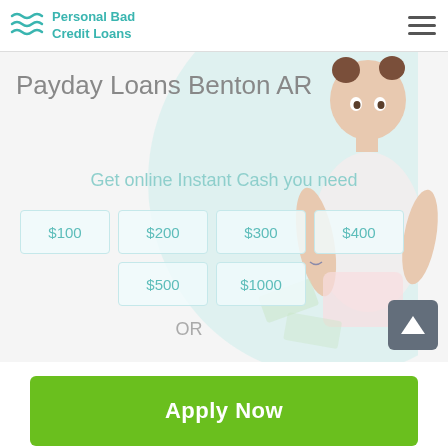Personal Bad Credit Loans
Payday Loans Benton AR
Get online Instant Cash you need
$100
$200
$300
$400
$500
$1000
OR
[Figure (screenshot): Green Apply Now button]
Applying does NOT affect your credit score!
No credit check to apply.